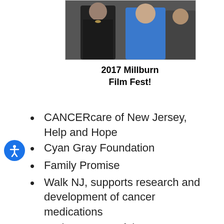[Figure (photo): Two people posing together, one wearing a blue outfit, photographed at the 2017 Millburn Film Fest event.]
2017 Millburn Film Fest!
CANCERcare of New Jersey, Help and Hope
Cyan Gray Foundation
Family Promise
Walk NJ, supports research and development of cancer medications
Junior League of the Oranges and Short Hills
Paper Mill Playhouse, local theater